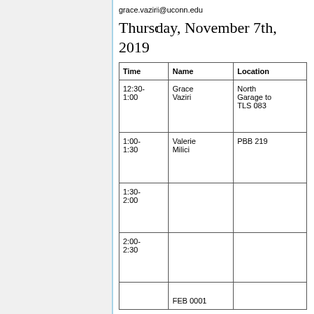grace.vaziri@uconn.edu
Thursday, November 7th, 2019
| Time | Name | Location |
| --- | --- | --- |
| 12:30-1:00 | Grace Vaziri | North Garage to TLS 083 |
| 1:00-1:30 | Valerie Milici | PBB 219 |
| 1:30-2:00 |  |  |
| 2:00-2:30 |  |  |
|  | FEB 0001 |  |